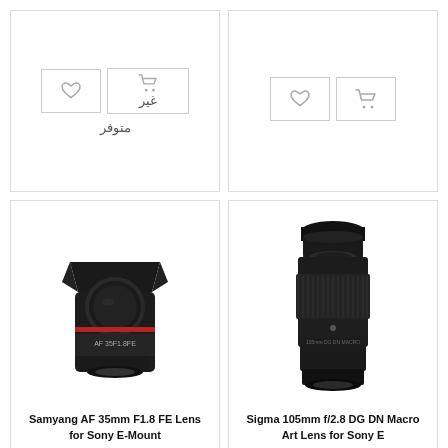[Figure (other): Top-left product card with heart (wishlist) button and cart button showing Arabic text 'غير متوفر' (unavailable)]
[Figure (other): Top-right product card with heart (wishlist) button and cart button]
[Figure (photo): Samyang AF 35mm F1.8 FE Lens for Sony E-Mount camera lens product image]
Samyang AF 35mm F1.8 FE Lens for Sony E-Mount
[Figure (photo): Sigma 105mm f/2.8 DG DN Macro Art Lens for Sony E camera lens product image]
Sigma 105mm f/2.8 DG DN Macro Art Lens for Sony E